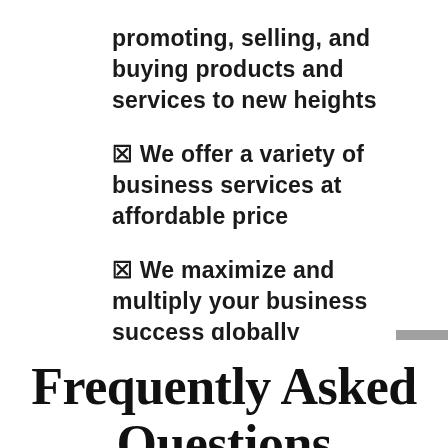promoting, selling, and buying products and services to new heights
✦ We offer a variety of business services at affordable price
✦ We maximize and multiply your business success globally
✦ We serve as your business
Frequently Asked Questions